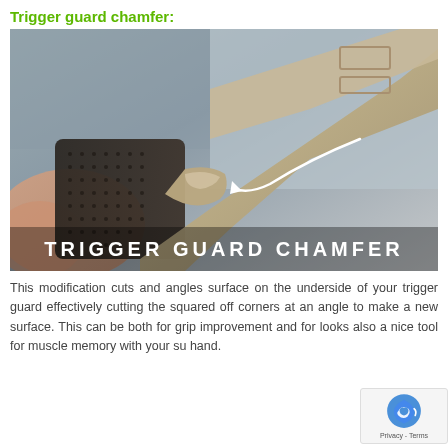Trigger guard chamfer:
[Figure (photo): Close-up photo of a tan/FDE pistol grip and trigger guard area being held, with a white curved arrow pointing to the trigger guard chamfer area. Text overlay at bottom reads 'TRIGGER GUARD CHAMFER' in white capital letters.]
This modification cuts and angles surface on the underside of your trigger guard effectively cutting the squared off corners at an angle to make a new surface. This can be both for grip improvement and for looks also a nice tool for muscle memory with your su hand.